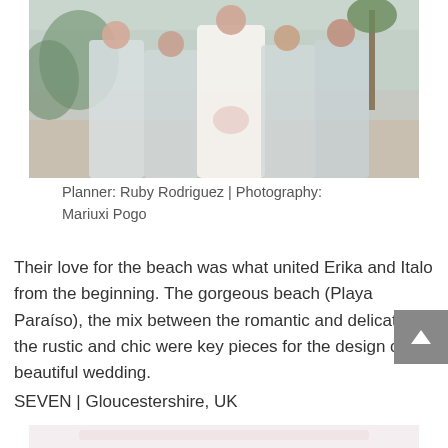[Figure (photo): Wedding photo of a bride in a white lace gown holding a bouquet, surrounded by four bridesmaids in light blue/pale outfits, all smiling and celebrating outdoors near a beach resort setting with palm trees in the background.]
Planner: Ruby Rodriguez | Photography: Mariuxi Pogo
Their love for the beach was what united Erika and Italo from the beginning. The gorgeous beach (Playa Paraíso), the mix between the romantic and delicate and the rustic and chic were key pieces for the design of this beautiful wedding.
SEVEN | Gloucestershire, UK
[Figure (photo): Partial view of another photo below, showing a light pink/cream background, likely another wedding scene.]